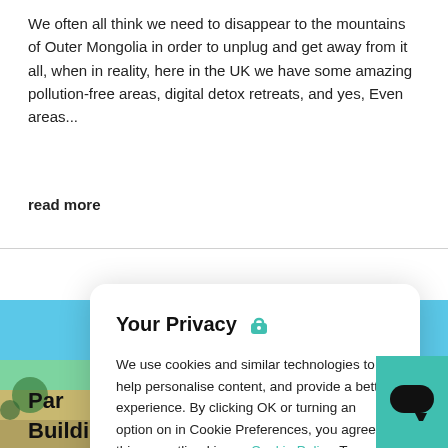We often all think we need to disappear to the mountains of Outer Mongolia in order to unplug and get away from it all, when in reality, here in the UK we have some amazing pollution-free areas, digital detox retreats, and yes, Even areas...
read more
[Figure (screenshot): Privacy cookie consent modal dialog with title 'Your Privacy' and a teal lock icon, body text about cookie usage, a 'Cookie Policy' link, and two buttons: 'Cookie Preferences' and 'OK']
[Figure (photo): Beach scene with blue sky and turquoise water visible behind the modal, partially obscured]
Par
Building and Growing Retreatmi